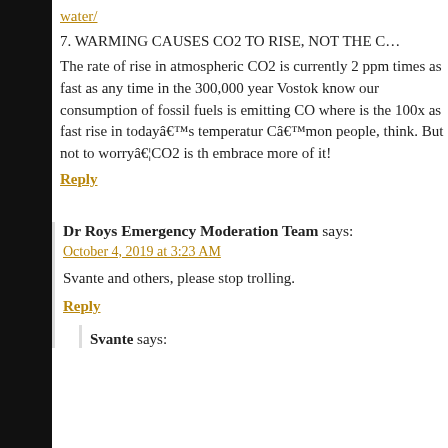water/
7. WARMING CAUSES CO2 TO RISE, NOT THE C…
The rate of rise in atmospheric CO2 is currently 2 ppm times as fast as any time in the 300,000 year Vostok know our consumption of fossil fuels is emitting CO where is the 100x as fast rise in today's temperature Câ€™mon people, think. But not to worryâ€¦CO2 is th embrace more of it!
Reply
Dr Roys Emergency Moderation Team says:
October 4, 2019 at 3:23 AM
Svante and others, please stop trolling.
Reply
Svante says: